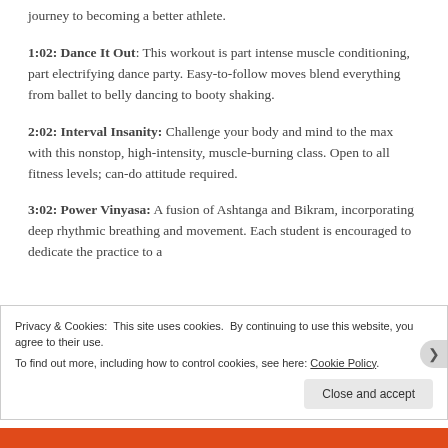journey to becoming a better athlete.
1:02: Dance It Out: This workout is part intense muscle conditioning, part electrifying dance party. Easy-to-follow moves blend everything from ballet to belly dancing to booty shaking.
2:02: Interval Insanity: Challenge your body and mind to the max with this nonstop, high-intensity, muscle-burning class. Open to all fitness levels; can-do attitude required.
3:02: Power Vinyasa: A fusion of Ashtanga and Bikram, incorporating deep rhythmic breathing and movement. Each student is encouraged to dedicate the practice to a
Privacy & Cookies: This site uses cookies. By continuing to use this website, you agree to their use.
To find out more, including how to control cookies, see here: Cookie Policy